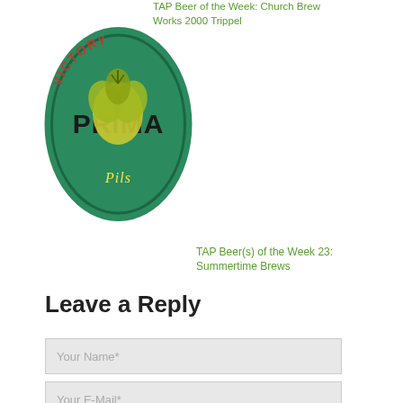TAP Beer of the Week: Church Brew Works 2000 Trippel
[Figure (logo): Victory Prima Pils circular logo with green background, hop illustration, and stylized text]
TAP Beer(s) of the Week 23: Summertime Brews
Leave a Reply
Your Name*
Your E-Mail*
Got a website?
Your Comment here...